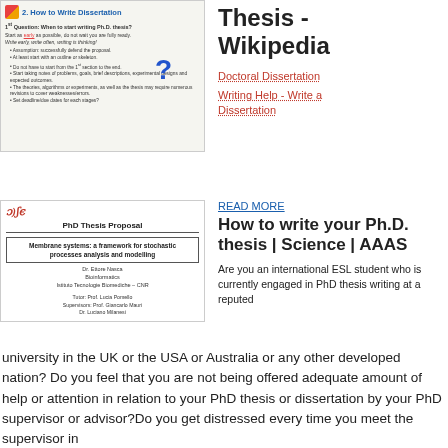[Figure (screenshot): Screenshot of a slide titled '2. How to Write Dissertation' with bullet points about PhD thesis writing, including a blue question mark graphic]
Thesis - Wikipedia
Doctoral Dissertation
Writing Help - Write a Dissertation
[Figure (screenshot): Screenshot of a PhD Thesis Proposal document cover page with DISC logo, title 'Membrane systems: a framework for stochastic processes analysis and modelling', author Dr. Ettore Nasca, Bioinformatics, Istituto Tecnologie Biomediche - CNR, Tutor: Prof. Lucia Pomello, Supervisors: Prof. Giancarlo Mauri, Dr. Luciano Milanesi]
READ MORE
How to write your Ph.D. thesis | Science | AAAS
Are you an international ESL student who is currently engaged in PhD thesis writing at a reputed university in the UK or the USA or Australia or any other developed nation? Do you feel that you are not being offered adequate amount of help or attention in relation to your PhD thesis or dissertation by your PhD supervisor or advisor?Do you get distressed every time you meet the supervisor in